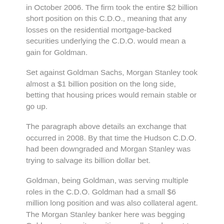in October 2006. The firm took the entire $2 billion short position on this C.D.O., meaning that any losses on the residential mortgage-backed securities underlying the C.D.O. would mean a gain for Goldman.
Set against Goldman Sachs, Morgan Stanley took almost a $1 billion position on the long side, betting that housing prices would remain stable or go up.
The paragraph above details an exchange that occurred in 2008. By that time the Hudson C.D.O. had been downgraded and Morgan Stanley was trying to salvage its billion dollar bet.
Goldman, being Goldman, was serving multiple roles in the C.D.O. Goldman had a small $6 million long position and was also collateral agent. The Morgan Stanley banker here was begging Goldman to use its position as collateral agent to sell some of Hudson's assets in order to